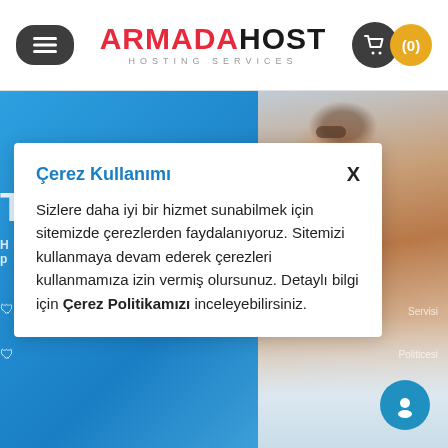[Figure (screenshot): ArmadaHost website header with hamburger menu button on left, ARMADAHOST HOSTING SERVICES logo in center, and shopping cart button with (0) count on right]
[Figure (screenshot): Blue gradient background section with partial text and person photo on right side]
Çerez Kullanımı
Sizlere daha iyi bir hizmet sunabilmek için sitemizde çerezlerden faydalanıyoruz. Sitemizi kullanmaya devam ederek çerezleri kullanmamıza izin vermiş olursunuz. Detaylı bilgi için Çerez Politikamızı inceleyebilirsiniz.